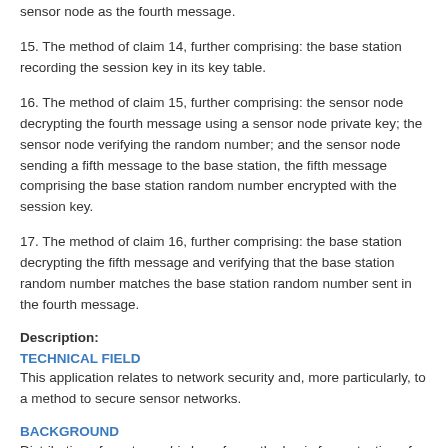sensor node as the fourth message.
15. The method of claim 14, further comprising: the base station recording the session key in its key table.
16. The method of claim 15, further comprising: the sensor node decrypting the fourth message using a sensor node private key; the sensor node verifying the random number; and the sensor node sending a fifth message to the base station, the fifth message comprising the base station random number encrypted with the session key.
17. The method of claim 16, further comprising: the base station decrypting the fifth message and verifying that the base station random number matches the base station random number sent in the fourth message.
Description:
TECHNICAL FIELD
This application relates to network security and, more particularly, to a method to secure sensor networks.
BACKGROUND
Distribution of cryptographic keys forms the basis for protection of both data and networking resources in any network. Privacy, integrity, and authenticity